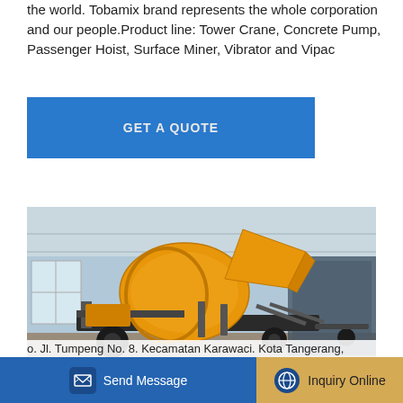the world. Tobamix brand represents the whole corporation and our people.Product line: Tower Crane, Concrete Pump, Passenger Hoist, Surface Miner, Vibrator and Vipac
[Figure (screenshot): Blue 'GET A QUOTE' button]
[Figure (photo): Yellow concrete mixer machine on wheels inside an industrial warehouse]
Tower Crane – Tobamix Forrumindo
o. Jl. Tumpeng No. 8. Kecamatan Karawaci. Kota Tangerang,
[Figure (screenshot): Bottom UI bar with 'Send Message' button on blue background and 'Inquiry Online' button on tan/gold background]